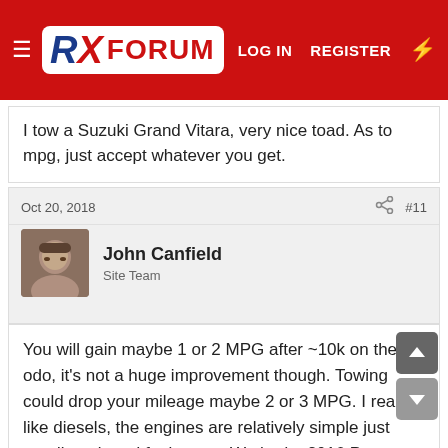RX FORUM — LOG IN  REGISTER
I tow a Suzuki Grand Vitara,  very nice toad.  As to mpg,  just accept whatever you get.
Oct 20, 2018  #11
John Canfield
Site Team
You will gain maybe 1 or 2 MPG after ~10k on the odo, it's not a huge improvement though. Towing could drop your mileage maybe 2 or 3 MPG. I really like diesels, the engines are relatively simple just needing air and fuel to run. We had a 2016 Passat TDi - a great vehicle and would get about 50 MPG on the highway but we sold it back to VW.